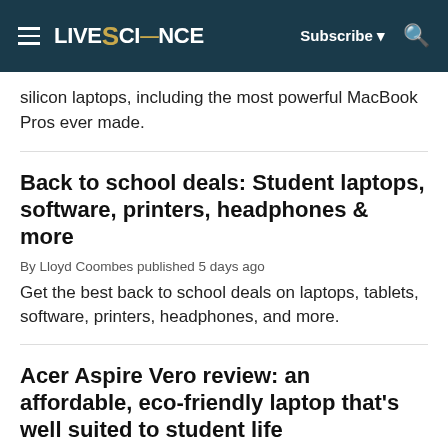LIVESCIENCE — Subscribe ▼ 🔍
silicon laptops, including the most powerful MacBook Pros ever made.
Back to school deals: Student laptops, software, printers, headphones & more
By Lloyd Coombes published 5 days ago
Get the best back to school deals on laptops, tablets, software, printers, headphones, and more.
Acer Aspire Vero review: an affordable, eco-friendly laptop that's well suited to student life